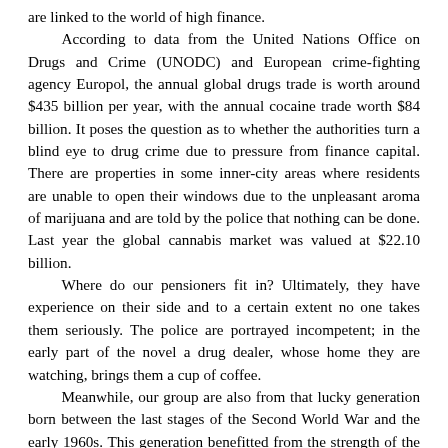are linked to the world of high finance. According to data from the United Nations Office on Drugs and Crime (UNODC) and European crime-fighting agency Europol, the annual global drugs trade is worth around $435 billion per year, with the annual cocaine trade worth $84 billion. It poses the question as to whether the authorities turn a blind eye to drug crime due to pressure from finance capital. There are properties in some inner-city areas where residents are unable to open their windows due to the unpleasant aroma of marijuana and are told by the police that nothing can be done. Last year the global cannabis market was valued at $22.10 billion. Where do our pensioners fit in? Ultimately, they have experience on their side and to a certain extent no one takes them seriously. The police are portrayed incompetent; in the early part of the novel a drug dealer, whose home they are watching, brings them a cup of coffee. Meanwhile, our group are also from that lucky generation born between the last stages of the Second World War and the early 1960s. This generation benefitted from the strength of the socialist camp abroad; forcing our ruling class to give concessions such as the NHS. It is perhaps fitting that Joyce, who occasionally narrates the story, is a former nurse. Another